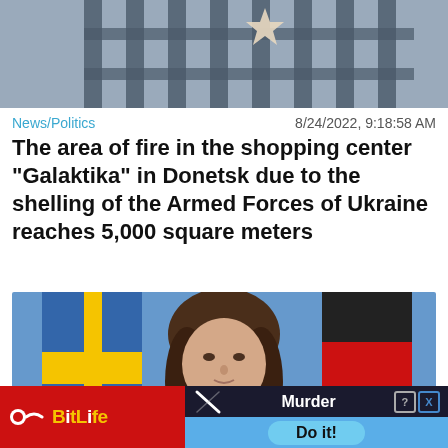[Figure (photo): Top portion of a photo showing fence/gate bars with what appears to be a star emblem, cropped at top of page]
News/Politics    8/24/2022, 9:18:58 AM
The area of fire in the shopping center "Galaktika" in Donetsk due to the shelling of the Armed Forces of Ukraine reaches 5,000 square meters
[Figure (photo): Photo of a woman with long brown hair wearing a dark blazer, with blue and red flags visible in the background. A 'Close X' button overlay appears in the bottom right corner.]
[Figure (other): BitLife game advertisement banner showing BitLife logo on red background on left, and a game interface showing 'Murder' option with 'Do it!' button on blue background on right]